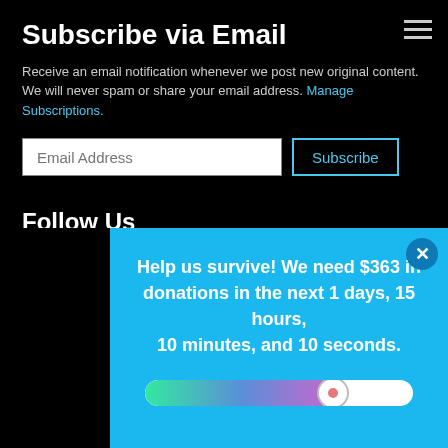Subscribe via Email
Receive an email notification whenever we post new original content. We will never spam or share your email address. Manage Subscriptions.
Email Address [input field] Subscribe [button]
Follow Us
Feelers Online
Follow us on Twitter
/r/DamnInteresting subreddit
Subs[cribe...]
RSS:
RSS:
[Figure (infographic): Blue popup overlay with text: Help us survive! We need $363 in donations in the next 1 days, 15 hours, 10 minutes, and 10 seconds. Below is a progress bar showing partial fill from green to purple, with a circular marker at approximately 70% completion. An X close button is in the upper right corner.]